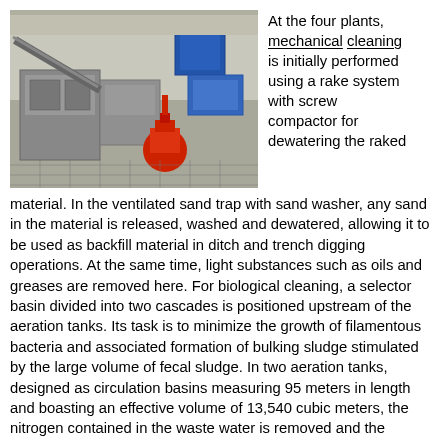[Figure (photo): Industrial machinery inside a plant facility showing metal equipment including pumps, tanks, and conveyor systems. A red pump/motor is visible in the foreground, and blue equipment is visible in the background.]
At the four plants, mechanical cleaning is initially performed using a rake system with screw compactor for dewatering the raked material. In the ventilated sand trap with sand washer, any sand in the material is released, washed and dewatered, allowing it to be used as backfill material in ditch and trench digging operations. At the same time, light substances such as oils and greases are removed here. For biological cleaning, a selector basin divided into two cascades is positioned upstream of the aeration tanks. Its task is to minimize the growth of filamentous bacteria and associated formation of bulking sludge stimulated by the large volume of fecal sludge. In two aeration tanks, designed as circulation basins measuring 95 meters in length and boasting an effective volume of 13,540 cubic meters, the nitrogen contained in the waste water is removed and the